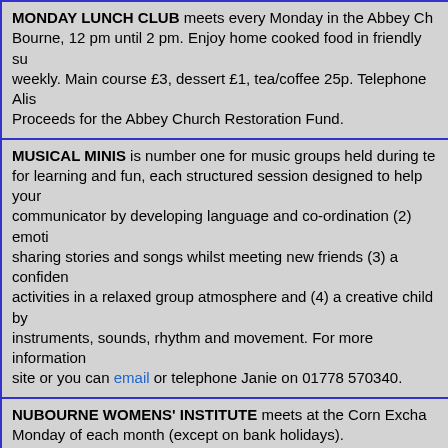MONDAY LUNCH CLUB meets every Monday in the Abbey Ch... Bourne, 12 pm until 2 pm. Enjoy home cooked food in friendly su... weekly. Main course £3, dessert £1, tea/coffee 25p. Telephone Alis... Proceeds for the Abbey Church Restoration Fund.
MUSICAL MINIS is number one for music groups held during te... for learning and fun, each structured session designed to help your... communicator by developing language and co-ordination (2) emoti... sharing stories and songs whilst meeting new friends (3) a confiden... activities in a relaxed group atmosphere and (4) a creative child by... instruments, sounds, rhythm and movement. For more information... site or you can email or telephone Janie on 01778 570340.
NUBOURNE WOMENS' INSTITUTE meets at the Corn Excha... Monday of each month (except on bank holidays).
PETERBOROUGH & STAMFORD ANTHROPOSOPHICAL... Tuesday of the month (7.30 to 9 pm) from 4th June 2013. Anyone i... works of Rudolph Steiner are welcome. Please telephone Deb on 0... 0759 941961 for further details.
THE POACHERS SUPPER CLUB is a sociable and friendly org... Thursday of each month at the Angel Hotel, Bourne. The meal is us... sometimes with slides, on all subjects ranging from antiques, pasti...